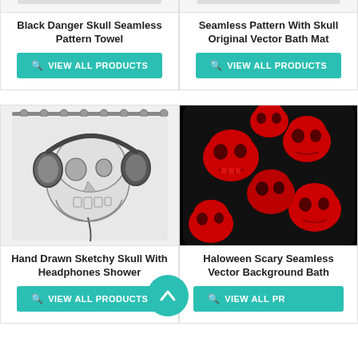[Figure (photo): Partial product card top: Black Danger Skull Seamless Pattern Towel - image cropped at top]
Black Danger Skull Seamless Pattern Towel
VIEW ALL PRODUCTS
[Figure (photo): Partial product card top: Seamless Pattern With Skull Original Vector Bath Mat - image cropped at top]
Seamless Pattern With Skull Original Vector Bath Mat
VIEW ALL PRODUCTS
[Figure (photo): Skull wearing headphones, black and white sketch style, shown as shower curtain on rod]
Hand Drawn Sketchy Skull With Headphones Shower
VIEW ALL PRODUCTS
[Figure (photo): Red skulls on black background, seamless pattern, shown as bath mat]
Haloween Scary Seamless Vector Background Bath
VIEW ALL PR